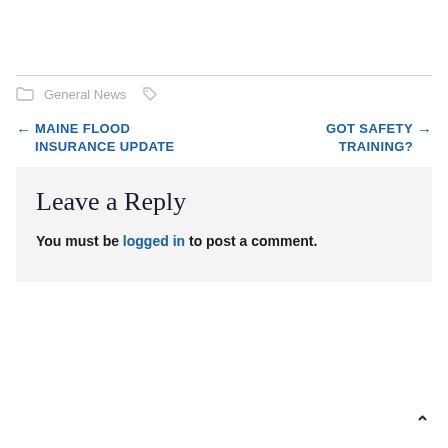General News
← MAINE FLOOD INSURANCE UPDATE
GOT SAFETY TRAINING? →
Leave a Reply
You must be logged in to post a comment.